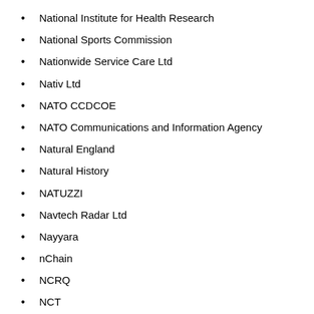National Institute for Health Research
National Sports Commission
Nationwide Service Care Ltd
Nativ Ltd
NATO CCDCOE
NATO Communications and Information Agency
Natural England
Natural History
NATUZZI
Navtech Radar Ltd
Nayyara
nChain
NCRQ
NCT
Nelt Co
Neptune
NEST Corporation
NEST Management Ltd
Nestle UK Ltd
New Dawn Innovations
New Economy